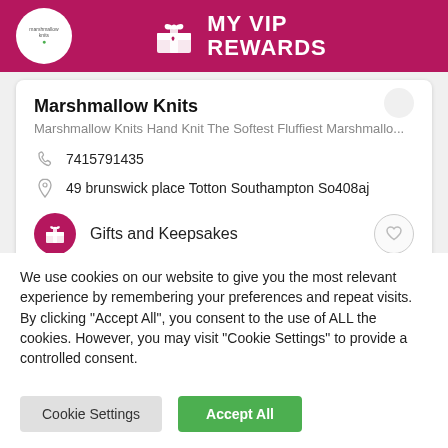MY VIP REWARDS
Marshmallow Knits
Marshmallow Knits Hand Knit The Softest Fluffiest Marshmallo...
7415791435
49 brunswick place Totton Southampton So408aj
Gifts and Keepsakes
We use cookies on our website to give you the most relevant experience by remembering your preferences and repeat visits. By clicking "Accept All", you consent to the use of ALL the cookies. However, you may visit "Cookie Settings" to provide a controlled consent.
Cookie Settings
Accept All